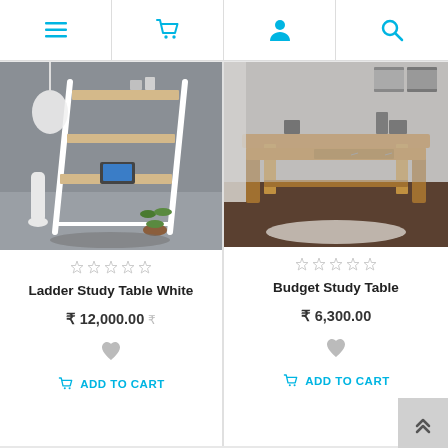Navigation bar with menu, cart, user, and search icons
[Figure (photo): Ladder Study Table White – a white metal ladder-style desk with wooden shelves, laptop on the desk surface, plants and vase nearby, grey background room]
☆☆☆☆☆
Ladder Study Table White
₹ 12,000.00 ₹
[Figure (photo): Budget Study Table – a solid wooden study table with two drawers, natural brown wood finish, displayed in a room with white curtains and grey walls]
☆☆☆☆☆
Budget Study Table
₹ 6,300.00